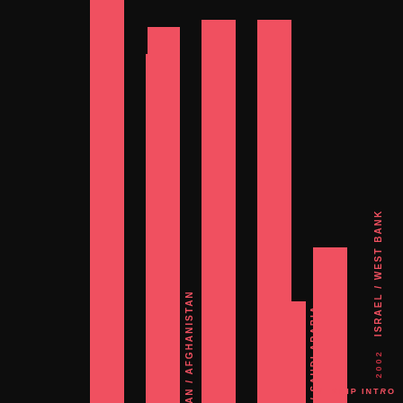[Figure (infographic): Graphic design with vertical red bars on black background, rotated text labels indicating years and locations: 2001 UZBEKISTAN / AFGHANISTAN, 2002 ISRAEL / WEST BANK, and partial text N / SAUDI ARABIA, with SKIP INTRO text at bottom.]
2001  UZBEKISTAN / AFGHANISTAN
2002  ISRAEL / WEST BANK
N / SAUDI ARABIA
SKIP INTRO